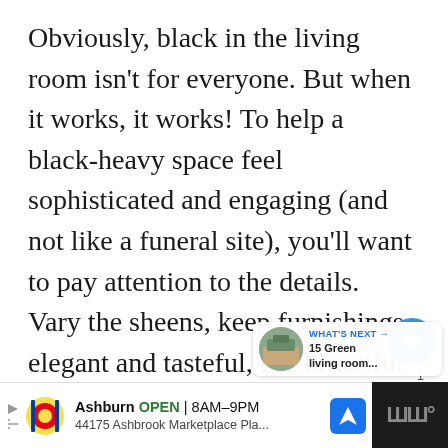Obviously, black in the living room isn't for everyone. But when it works, it works! To help a black-heavy space feel sophisticated and engaging (and not like a funeral site), you'll want to pay attention to the details. Vary the sheens, keep furnishings elegant and tasteful, use beautiful lighting as points of emphasis and reference, and be committed. The result is uber dramatic chic.
[Figure (screenshot): UI overlay with heart/like button (blue circle, count 1), share button, and 'What's Next' card showing '15 Green living room...']
[Figure (screenshot): Advertisement bar: Lidl logo, Ashburn OPEN 8AM-9PM, 44175 Ashbrook Marketplace Pla..., navigation icon, and dark panel with wave/audio icon]